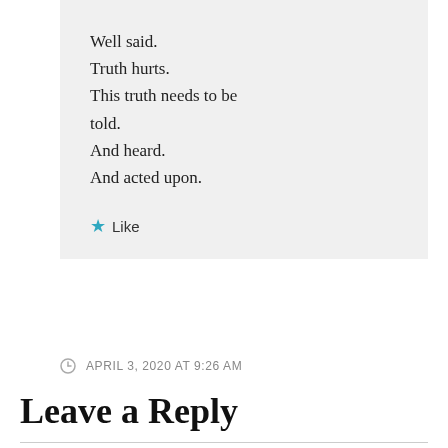Well said.
Truth hurts.
This truth needs to be told.
And heard.
And acted upon.
★ Like
APRIL 3, 2020 AT 9:26 AM
Leave a Reply
Your email address will not be published.